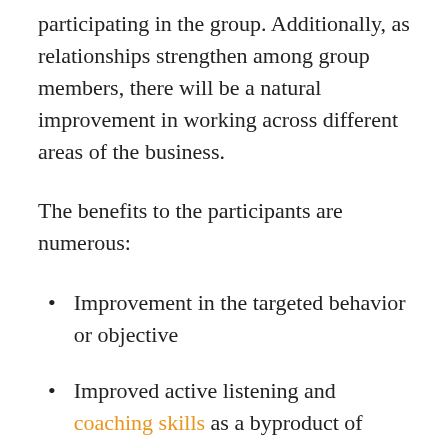participating in the group. Additionally, as relationships strengthen among group members, there will be a natural improvement in working across different areas of the business.
The benefits to the participants are numerous:
Improvement in the targeted behavior or objective
Improved active listening and coaching skills as a byproduct of service as a peer-coach
Increased engagement from forming